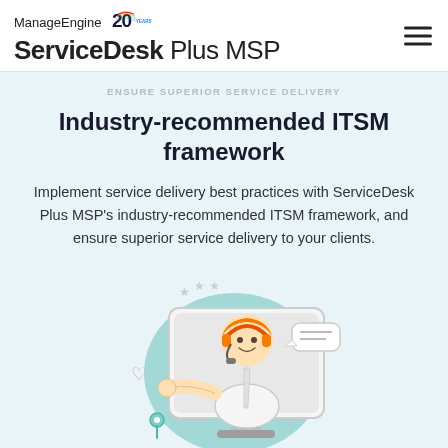ManageEngine 20 YEARS | ServiceDesk Plus MSP
ENSURE SUPERIOR SERVICE DELIVERY
Industry-recommended ITSM framework
Implement service delivery best practices with ServiceDesk Plus MSP's industry-recommended ITSM framework, and ensure superior service delivery to your clients.
[Figure (illustration): Illustration of a customer service agent with headset emerging from a computer monitor, surrounded by icons like a heart, location pin, and star ratings, on a teal circular background.]